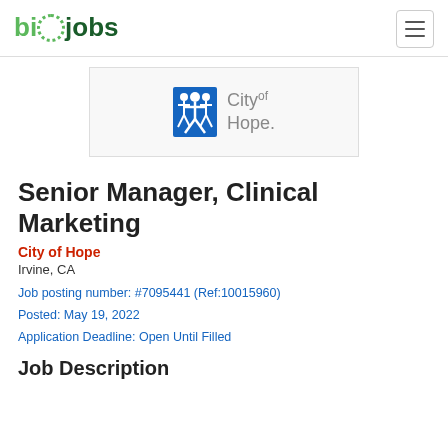biOjobs
[Figure (logo): City of Hope logo — blue icon of stylized figures with 'City of Hope.' text in gray]
Senior Manager, Clinical Marketing
City of Hope
Irvine, CA
Job posting number: #7095441 (Ref:10015960)
Posted: May 19, 2022
Application Deadline: Open Until Filled
Job Description